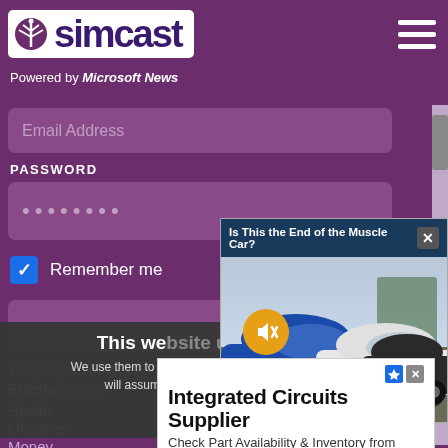[Figure (screenshot): Simcast website header with logo and hamburger menu on purple background]
Powered by Microsoft News
Email Address
PASSWORD
••••••••
Remember me
[Figure (screenshot): News popup: 'Is This the End of the Muscle Car?' with photo of muscle cars at dealership and mute button]
This we
We use them to give you the be will assume that you are
Co
Entertai
Health
Lifestyle
Money
[Figure (screenshot): Advertisement banner: Integrated Circuits Supplier - Check Part Availability & Inventory from Kynix - Get Quote button]